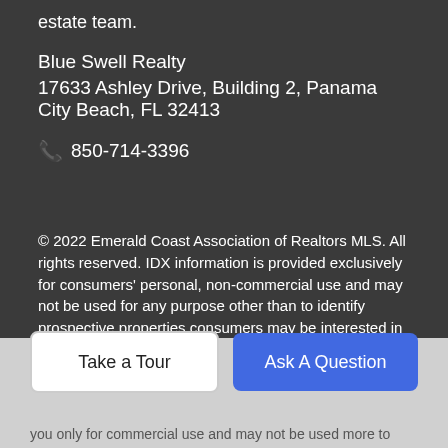estate team.
Blue Swell Realty
17633 Ashley Drive, Building 2, Panama City Beach, FL 32413
📞 850-714-3396
© 2022 Emerald Coast Association of Realtors MLS. All rights reserved. IDX information is provided exclusively for consumers' personal, non-commercial use and may not be used for any purpose other than to identify prospective properties consumers may be interested in purchasing. Information is deemed reliable but is not guaranteed accurate by the MLS or Blue Swell Realty. Vendor Member number: 28178. Data last updated: 2022-09-05T18:59:24.527.
Vendor Member #28178.
Take a Tour
Ask A Question
you only for commercial use and may not be used more to